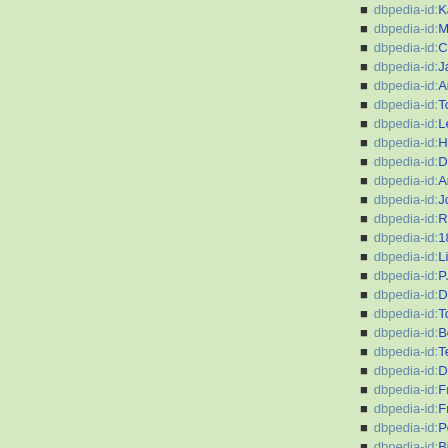dbpedia-id:Kategori:Tottenhn
dbpedia-id:Moussa_Dembe
dbpedia-id:Chris_Hughton
dbpedia-id:Jan_Vertonghen
dbpedia-id:Andros_Townser
dbpedia-id:Tom_Carroll_(pe
dbpedia-id:Lewis_Holtby
dbpedia-id:Heurelho_Gome
dbpedia-id:Danny_Rose
dbpedia-id:Arsenal
dbpedia-id:John_Cameron
dbpedia-id:Ray_Clemence
dbpedia-id:1882
dbpedia-id:Liga_Utama_Ing
dbpedia-id:P.A.O.K._F.C.
dbpedia-id:Daniel_Levy
dbpedia-id:Tottenham
dbpedia-id:Berkas:Tottenha
dbpedia-id:Terry_Venables
dbpedia-id:Derby_London_
dbpedia-id:Frank_Brettell
dbpedia-id:Fred_Kirkham
dbpedia-id:Peter_McWilliam
dbpedia-id:Billy_Minter
dbpedia-id:Percy_Smith
dbpedia-id:Wally_Hardinge
dbpedia-id:Jack_Tresadern
dbpedia-id:Arthur_Turner
dbpedia-id:Joe_Hulme
dbpedia-id:Arthur_Rowe